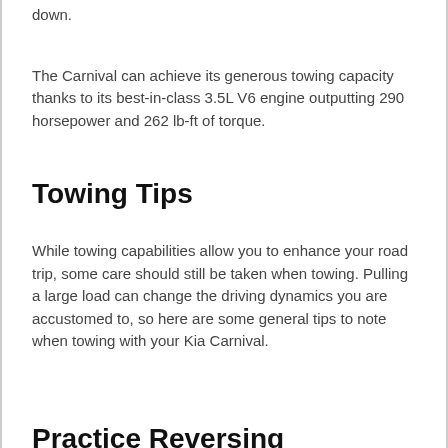down.
The Carnival can achieve its generous towing capacity thanks to its best-in-class 3.5L V6 engine outputting 290 horsepower and 262 lb-ft of torque.
Towing Tips
While towing capabilities allow you to enhance your road trip, some care should still be taken when towing. Pulling a large load can change the driving dynamics you are accustomed to, so here are some general tips to note when towing with your Kia Carnival.
Practice Reversing
Backing up with a trailer can be confusing for the first few